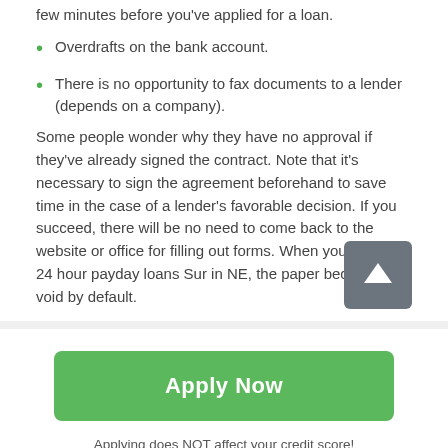few minutes before you've applied for a loan.
Overdrafts on the bank account.
There is no opportunity to fax documents to a lender (depends on a company).
Some people wonder why they have no approval if they've already signed the contract. Note that it's necessary to sign the agreement beforehand to save time in the case of a lender's favorable decision. If you succeed, there will be no need to come back to the website or office for filling out forms. When you fail to get 24 hour payday loans Sur in NE, the paper becomes void by default.
[Figure (other): Green scroll-to-top arrow button with grey background]
Apply Now
Applying does NOT affect your credit score!
No credit check to apply.